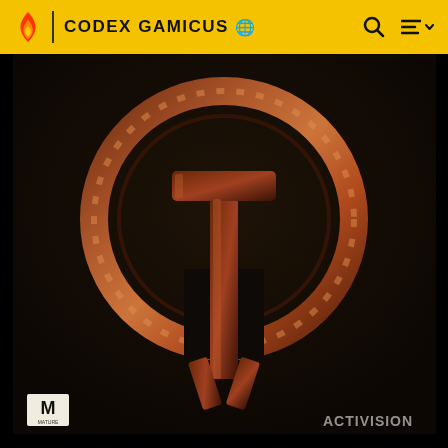CODEX GAMICUS
[Figure (photo): Quake game cover art showing the iconic Quake logo — a spiked ring symbol with a cross/hammer shape beneath it — rendered in dark reddish-brown metallic style against a very dark, near-black textured background. Partial ESRB and Activision logos visible at the bottom corners.]